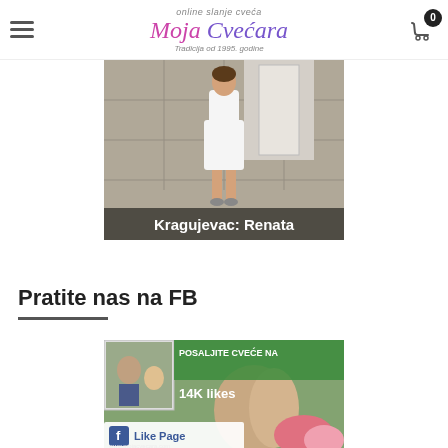Moja Cvećara – online slanje cveća, Tradicija od 1995. godine
[Figure (photo): Photo of a woman in a white dress standing in front of a door, with text overlay 'Kragujevac: Renata']
Pratite nas na FB
[Figure (photo): Facebook page widget showing 'POSALJITE CVEĆE NA...' with 14K likes, a couple embracing with flowers, and a Like Page button. URL www.mojacvecara.com]